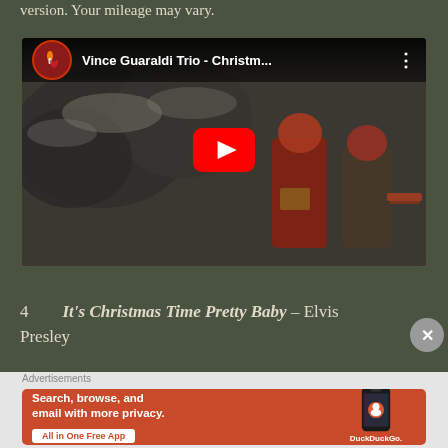version. Your mileage may vary.
[Figure (screenshot): YouTube video embed showing 'Vince Guaraldi Trio - Christm...' with a play button overlay. Background shows a vintage black-and-white photo of children in red winter clothing with sleds in a snowy scene.]
4   It's Christmas Time Pretty Baby – Elvis Presley
[Figure (screenshot): DuckDuckGo advertisement banner with orange/red background. Text reads: 'Search, browse, and email with more privacy. All in One Free App'. Shows a smartphone with the DuckDuckGo app and logo.]
Advertisements